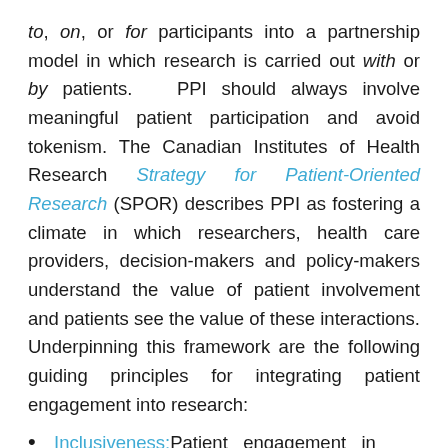to, on, or for participants into a partnership model in which research is carried out with or by patients. PPI should always involve meaningful patient participation and avoid tokenism. The Canadian Institutes of Health Research Strategy for Patient-Oriented Research (SPOR) describes PPI as fostering a climate in which researchers, health care providers, decision-makers and policy-makers understand the value of patient involvement and patients see the value of these interactions. Underpinning this framework are the following guiding principles for integrating patient engagement into research:
Inclusiveness: Patient engagement in